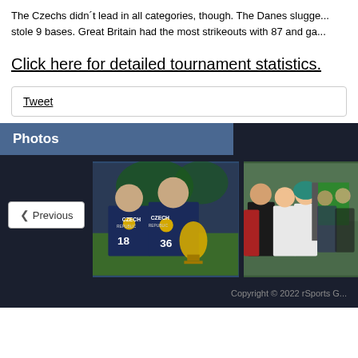The Czechs didn´t lead in all categories, though. The Danes slugge... stole 9 bases. Great Britain had the most strikeouts with 87 and ga...
Click here for detailed tournament statistics.
Tweet
Photos
[Figure (photo): Czech Republic players celebrating with gold medals and trophy]
[Figure (photo): Players at an outdoor event exchanging handshakes or items]
Copyright © 2022 rSports G...